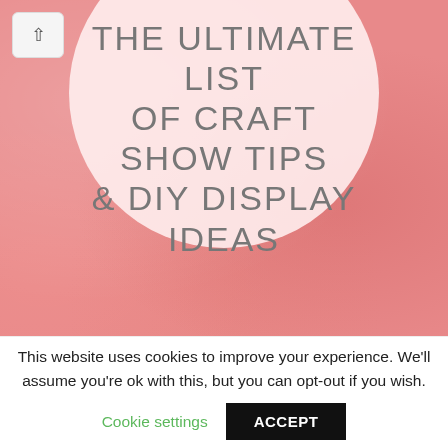[Figure (illustration): Pink watercolor background with a large white circle. Inside the circle, text reads: THE ULTIMATE LIST OF CRAFT SHOW TIPS & DIY DISPLAY IDEAS in uppercase gray letters. A small up-arrow button is in the top-left corner.]
This website uses cookies to improve your experience. We'll assume you're ok with this, but you can opt-out if you wish.
Cookie settings
ACCEPT